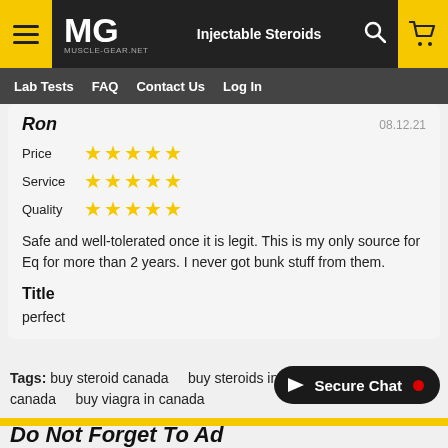MG MUSCLE-GEAR.NET | Injectable Steroids | Lab Tests | FAQ | Contact Us | Log In
Ron  08.12.21
Price ★★★★★
Service ★★★★★
Quality ★★★★★
Safe and well-tolerated once it is legit. This is my only source for Eq for more than 2 years. I never got bunk stuff from them.
Title
perfect
Tags: buy steroid canada   buy steroids in canada   buy viagra canada   buy viagra in canada
[Figure (other): Secure Chat button with red notification dot]
Do Not Forget To Ad...